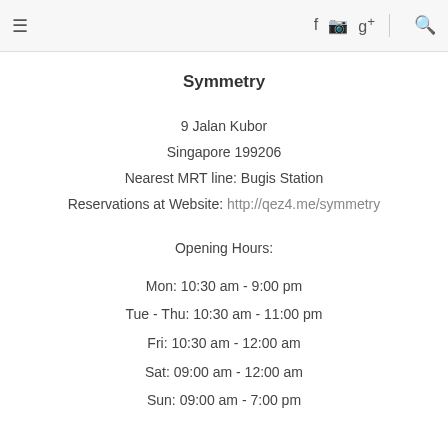≡  f  [instagram]  g+  [search]
Symmetry
9 Jalan Kubor
Singapore 199206
Nearest MRT line: Bugis Station
Reservations at Website: http://qez4.me/symmetry
Opening Hours:
Mon: 10:30 am - 9:00 pm
Tue - Thu: 10:30 am - 11:00 pm
Fri: 10:30 am - 12:00 am
Sat: 09:00 am - 12:00 am
Sun: 09:00 am - 7:00 pm